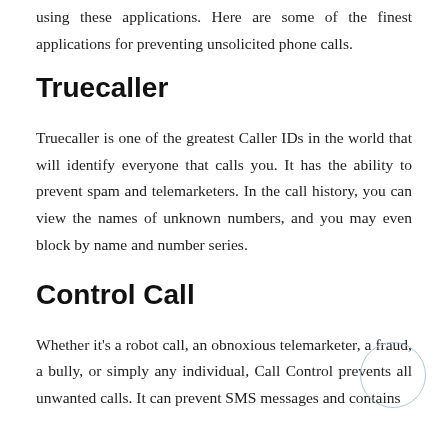using these applications. Here are some of the finest applications for preventing unsolicited phone calls.
Truecaller
Truecaller is one of the greatest Caller IDs in the world that will identify everyone that calls you. It has the ability to prevent spam and telemarketers. In the call history, you can view the names of unknown numbers, and you may even block by name and number series.
Control Call
Whether it's a robot call, an obnoxious telemarketer, a fraud, a bully, or simply any individual, Call Control prevents all unwanted calls. It can prevent SMS messages and contains